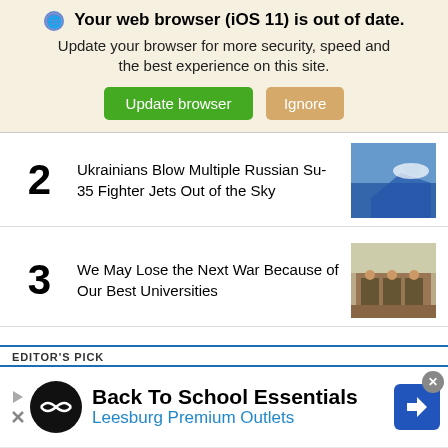Your web browser (iOS 11) is out of date. Update your browser for more security, speed and the best experience on this site.
Update browser | Ignore
2 Ukrainians Blow Multiple Russian Su-35 Fighter Jets Out of the Sky
[Figure (photo): Photo of fighter jet aircraft against blue sky]
3 We May Lose the Next War Because of Our Best Universities
[Figure (photo): Photo of people seated at a table, possibly military or academic setting]
EDITOR'S PICK
[Figure (infographic): Advertisement: Back To School Essentials - Leesburg Premium Outlets]